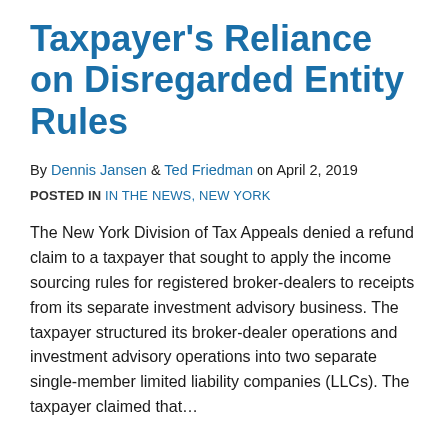Taxpayer's Reliance on Disregarded Entity Rules
By Dennis Jansen & Ted Friedman on April 2, 2019
POSTED IN IN THE NEWS, NEW YORK
The New York Division of Tax Appeals denied a refund claim to a taxpayer that sought to apply the income sourcing rules for registered broker-dealers to receipts from its separate investment advisory business. The taxpayer structured its broker-dealer operations and investment advisory operations into two separate single-member limited liability companies (LLCs). The taxpayer claimed that…